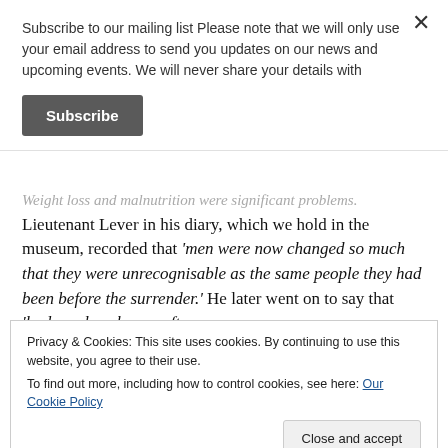Subscribe to our mailing list Please note that we will only use your email address to send you updates on our news and upcoming events. We will never share your details with
Subscribe
Weight loss and malnutrition were significant problems. Lieutenant Lever in his diary, which we hold in the museum, recorded that 'men were now changed so much that they were unrecognisable as the same people they had been before the surrender.' He later went on to say that 'body and soul were often kept together by the meagrest of provisions which gradually began to filter through that the end of the war may be in sight
Privacy & Cookies: This site uses cookies. By continuing to use this website, you agree to their use.
To find out more, including how to control cookies, see here: Our Cookie Policy
Close and accept